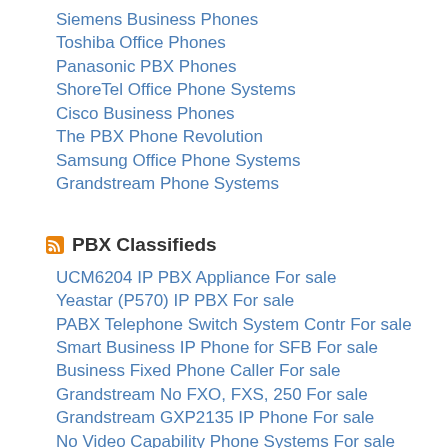Siemens Business Phones
Toshiba Office Phones
Panasonic PBX Phones
ShoreTel Office Phone Systems
Cisco Business Phones
The PBX Phone Revolution
Samsung Office Phone Systems
Grandstream Phone Systems
PBX Classifieds
UCM6204 IP PBX Appliance For sale
Yeastar (P570) IP PBX For sale
PABX Telephone Switch System Contr For sale
Smart Business IP Phone for SFB For sale
Business Fixed Phone Caller For sale
Grandstream No FXO, FXS, 250 For sale
Grandstream GXP2135 IP Phone For sale
No Video Capability Phone Systems For sale
GRP2670 12-Line 6 SIP IP Phone For sale